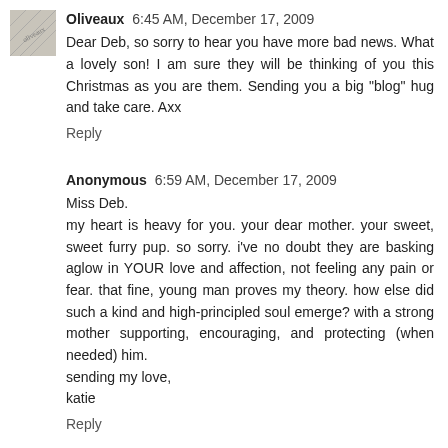[Figure (photo): Small avatar thumbnail showing a newspaper/print texture with diagonal text]
Oliveaux 6:45 AM, December 17, 2009
Dear Deb, so sorry to hear you have more bad news. What a lovely son! I am sure they will be thinking of you this Christmas as you are them. Sending you a big "blog" hug and take care. Axx
Reply
Anonymous 6:59 AM, December 17, 2009
Miss Deb.
my heart is heavy for you. your dear mother. your sweet, sweet furry pup. so sorry. i've no doubt they are basking aglow in YOUR love and affection, not feeling any pain or fear. that fine, young man proves my theory. how else did such a kind and high-principled soul emerge? with a strong mother supporting, encouraging, and protecting (when needed) him.
sending my love,
katie
Reply